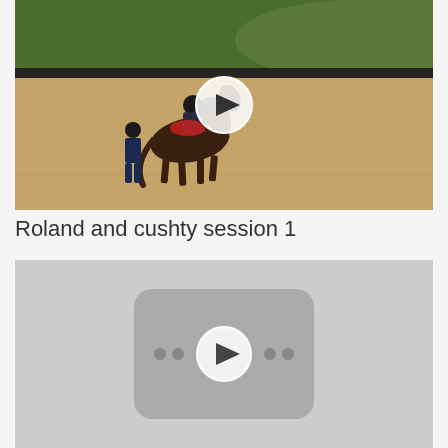[Figure (photo): Video thumbnail showing a person with a horse in a sandy arena, green hills in the background, with a circular play button overlay in the center]
Roland and cushty session 1
[Figure (screenshot): Video thumbnail placeholder showing a gray background with a darker rounded rectangle in the center containing a play button icon and dot decorations]